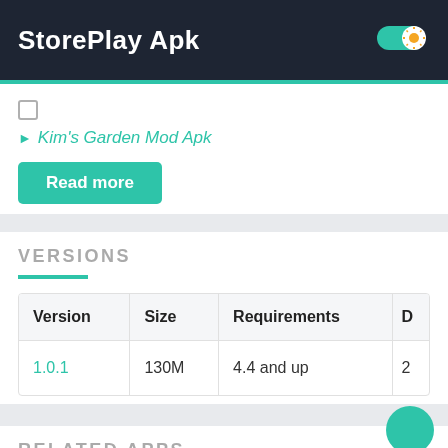StorePlay Apk
Kim's Garden Mod Apk
Read more
VERSIONS
| Version | Size | Requirements | D |
| --- | --- | --- | --- |
| 1.0.1 | 130M | 4.4 and up | 2 |
RELATED APPS